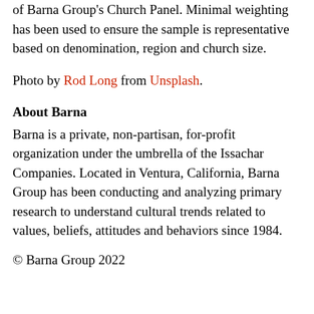of Barna Group's Church Panel. Minimal weighting has been used to ensure the sample is representative based on denomination, region and church size.
Photo by Rod Long from Unsplash.
About Barna
Barna is a private, non-partisan, for-profit organization under the umbrella of the Issachar Companies. Located in Ventura, California, Barna Group has been conducting and analyzing primary research to understand cultural trends related to values, beliefs, attitudes and behaviors since 1984.
© Barna Group 2022